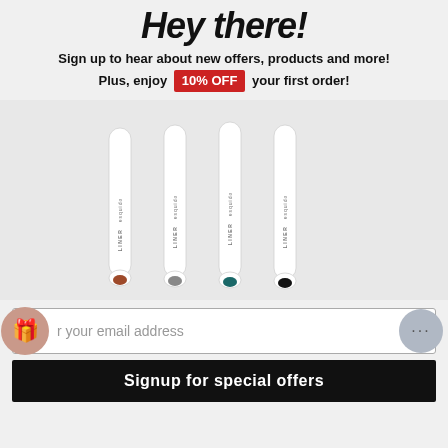Hey there!
Sign up to hear about new offers, products and more! Plus, enjoy 10% OFF your first order!
[Figure (photo): Four white eyeliner/liner pencils from the brand 'esquido' arranged side by side, each with different colored tips: brown/rust, gray, dark teal, and black.]
r your email address
Signup for special offers